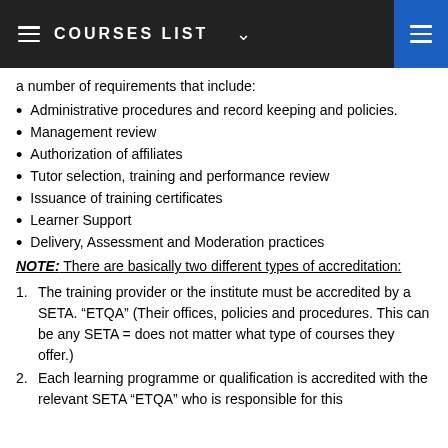COURSES LIST
a number of requirements that include:
Administrative procedures and record keeping and policies.
Management review
Authorization of affiliates
Tutor selection, training and performance review
Issuance of training certificates
Learner Support
Delivery, Assessment and Moderation practices
NOTE: There are basically two different types of accreditation:
The training provider or the institute must be accredited by a SETA. "ETQA" (Their offices, policies and procedures. This can be any SETA = does not matter what type of courses they offer.)
Each learning programme or qualification is accredited with the relevant SETA "ETQA" who is responsible for this